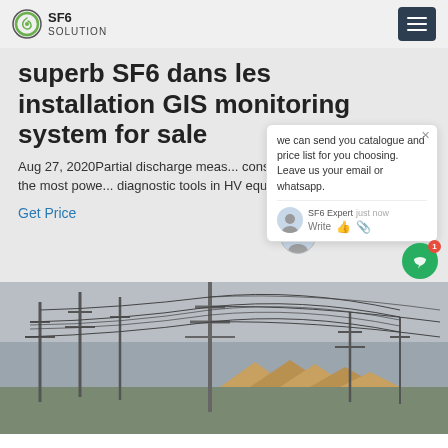SF6 SOLUTION
superb SF6 dans les installation GIS monitoring system for sale
Aug 27, 2020Partial discharge measurement is considered as one of the most powerful diagnostic tools in HV equipment.
Get Price
[Figure (screenshot): Live chat popup overlay with text: we can send you catalogue and price list for you choosing. Leave us your email or whatsapp. SF6 Expert just now. Write (with thumbs-up and paperclip icons). Green chat bubble with red badge showing 1.]
[Figure (photo): Photo of electrical power lines and transmission towers with wooden houses below, overcast sky.]